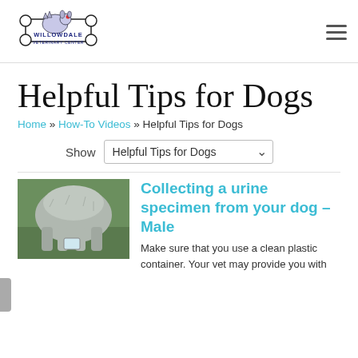[Figure (logo): Willowdale Veterinary Center logo — dog bone shape with cat and dog illustration, text WILLOWDALE VETERINARY CENTER]
Helpful Tips for Dogs
Home » How-To Videos » Helpful Tips for Dogs
Show   Helpful Tips for Dogs
[Figure (photo): Photo of a dog's underbelly and legs standing on grass, presumably during urine collection]
Collecting a urine specimen from your dog – Male
Make sure that you use a clean plastic container. Your vet may provide you with